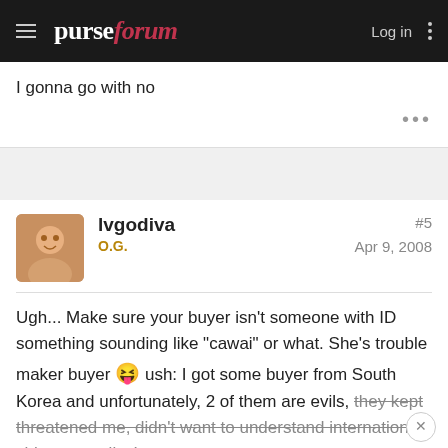purseforum | Log in
I gonna go with no
lvgodiva
O.G.
#5
Apr 9, 2008
Ugh... Make sure your buyer isn't someone with ID something sounding like "cawai" or what. She's trouble maker buyer 😝 ush: I got some buyer from South Korea and unfortunately, 2 of them are evils, they kept threatened me, didn't want to understand internation shipment policy!
South Korea has uncomfirmed address and check her